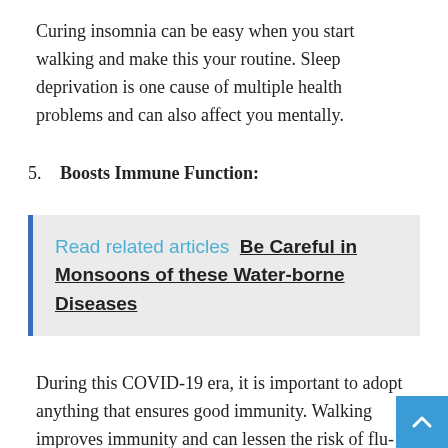Curing insomnia can be easy when you start walking and make this your routine. Sleep deprivation is one cause of multiple health problems and can also affect you mentally.
5. Boosts Immune Function:
Read related articles  Be Careful in Monsoons of these Water-borne Diseases
During this COVID-19 era, it is important to adopt anything that ensures good immunity. Walking improves immunity and can lessen the risk of flu-like symptoms.
6. Slow Down the Mental Decline:
Studies have proved that mental decline due to ageing was